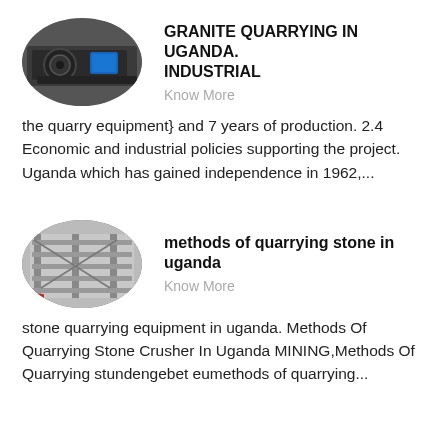[Figure (photo): Oval-framed photo of industrial quarry equipment, dark machinery with blue accents in a factory setting]
GRANITE QUARRYING IN UGANDA. INDUSTRIAL
Know More
the quarry equipment} and 7 years of production. 2.4 Economic and industrial policies supporting the project. Uganda which has gained independence in 1962,...
[Figure (photo): Oval-framed photo of industrial metal shelving or rack equipment in a factory/warehouse setting]
methods of quarrying stone in uganda
Know More
stone quarrying equipment in uganda. Methods Of Quarrying Stone Crusher In Uganda MINING,Methods Of Quarrying stundengebet eumethods of quarrying...